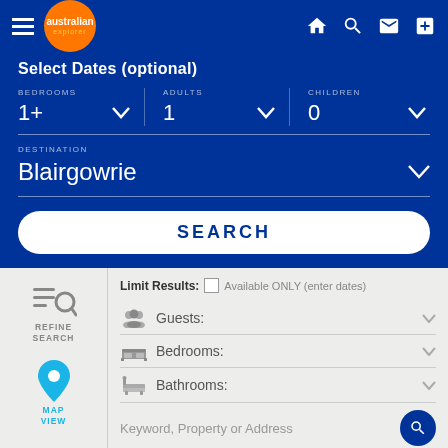[Figure (screenshot): Top navigation bar with hamburger menu, Australian Explorer logo (orange circle), and icons for home, search, mail, and add on dark blue background]
Select Dates (optional)
BEDROOMS 1+  ADULTS 1  CHILDREN 0
DESTINATION Blairgowrie
SEARCH
Limit Results: Available ONLY (enter dates)
Guests:
Bedrooms:
Bathrooms:
Keyword, Property or Address
More Filters